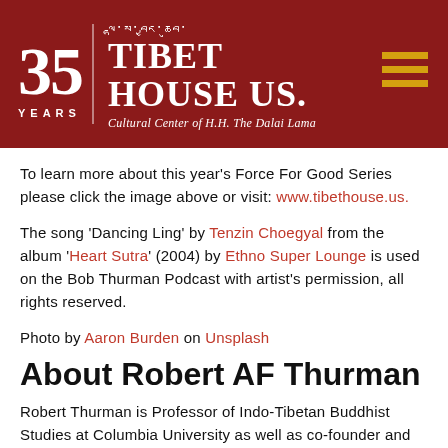[Figure (logo): Tibet House US 35 Years logo banner on dark red background with Tibetan script, hamburger menu icon]
To learn more about this year's Force For Good Series please click the image above or visit: www.tibethouse.us.
The song 'Dancing Ling' by Tenzin Choegyal from the album 'Heart Sutra' (2004) by Ethno Super Lounge is used on the Bob Thurman Podcast with artist's permission, all rights reserved.
Photo by Aaron Burden on Unsplash
About Robert AF Thurman
Robert Thurman is Professor of Indo-Tibetan Buddhist Studies at Columbia University as well as co-founder and President of Tibet